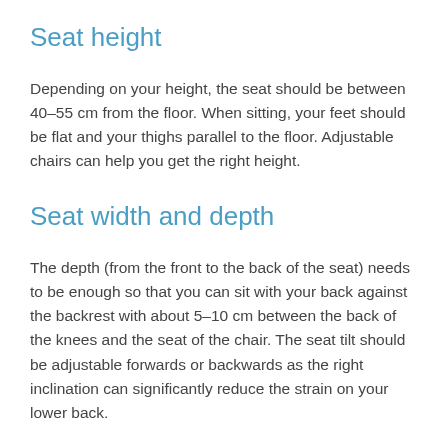Seat height
Depending on your height, the seat should be between 40–55 cm from the floor. When sitting, your feet should be flat and your thighs parallel to the floor. Adjustable chairs can help you get the right height.
Seat width and depth
The depth (from the front to the back of the seat) needs to be enough so that you can sit with your back against the backrest with about 5–10 cm between the back of the knees and the seat of the chair. The seat tilt should be adjustable forwards or backwards as the right inclination can significantly reduce the strain on your lower back.